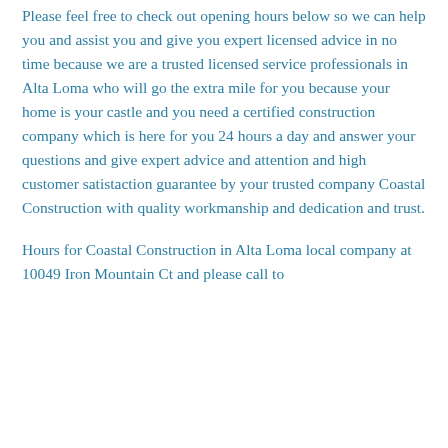Please feel free to check out opening hours below so we can help you and assist you and give you expert licensed advice in no time because we are a trusted licensed service professionals in Alta Loma who will go the extra mile for you because your home is your castle and you need a certified construction company which is here for you 24 hours a day and answer your questions and give expert advice and attention and high customer satistaction guarantee by your trusted company Coastal Construction with quality workmanship and dedication and trust.
Hours for Coastal Construction in Alta Loma local company at 10049 Iron Mountain Ct and please call to